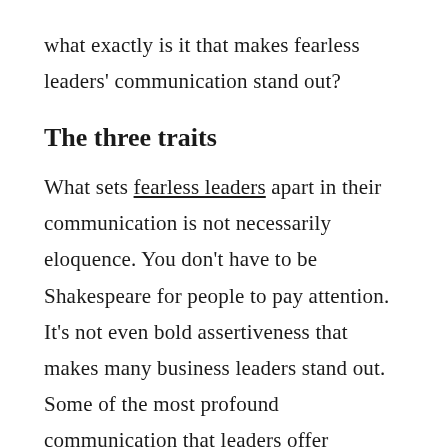what exactly is it that makes fearless leaders' communication stand out?
The three traits
What sets fearless leaders apart in their communication is not necessarily eloquence. You don't have to be Shakespeare for people to pay attention. It's not even bold assertiveness that makes many business leaders stand out. Some of the most profound communication that leaders offer happens as